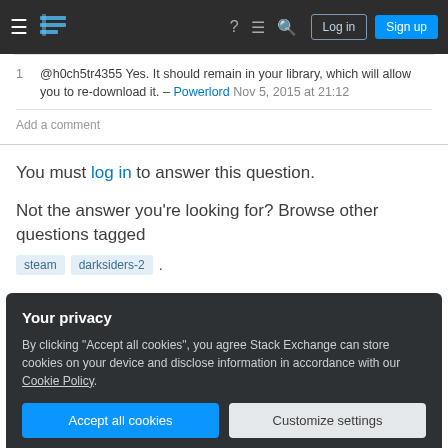Stack Exchange navigation bar with Log in and Sign up buttons
@h0ch5tr4355 Yes. It should remain in your library, which will allow you to re-download it. – Powerlord Nov 5, 2015 at 21:12
Add a comment
You must log in to answer this question.
Not the answer you're looking for? Browse other questions tagged steam darksiders-2 .
Your privacy
By clicking "Accept all cookies", you agree Stack Exchange can store cookies on your device and disclose information in accordance with our Cookie Policy.
Accept all cookies   Customize settings